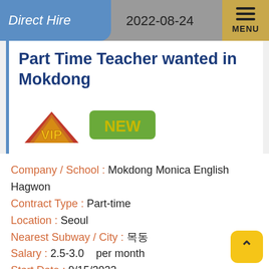Direct Hire   2022-08-24
Part Time Teacher wanted in Mokdong
[Figure (illustration): VIP badge (gold triangle with VIP text) and NEW green badge]
Company / School : Mokdong Monica English Hagwon
Contract Type : Part-time
Location : Seoul
Nearest Subway / City : 목동
Salary : 2.5-3.0   per month
Start Date : 9/15/2022
Start Time : Afternoon